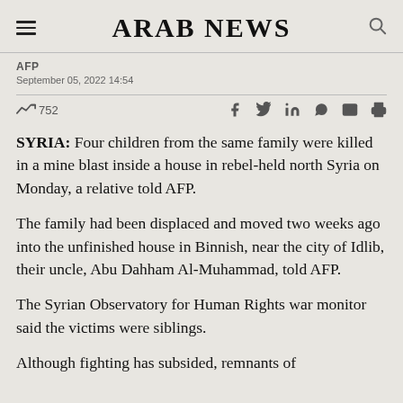ARAB NEWS
AFP
September 05, 2022 14:54
752
SYRIA: Four children from the same family were killed in a mine blast inside a house in rebel-held north Syria on Monday, a relative told AFP.
The family had been displaced and moved two weeks ago into the unfinished house in Binnish, near the city of Idlib, their uncle, Abu Dahham Al-Muhammad, told AFP.
The Syrian Observatory for Human Rights war monitor said the victims were siblings.
Although fighting has subsided, remnants of...